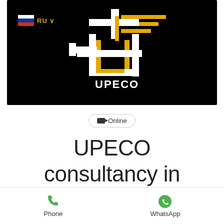[Figure (logo): UPECO logo on black background with geometric line art forming a J-like shape in white and yellow/gold, with a Russian flag and RU dropdown in top-left]
Online
UPECO consultancy in English language
Phone
WhatsApp